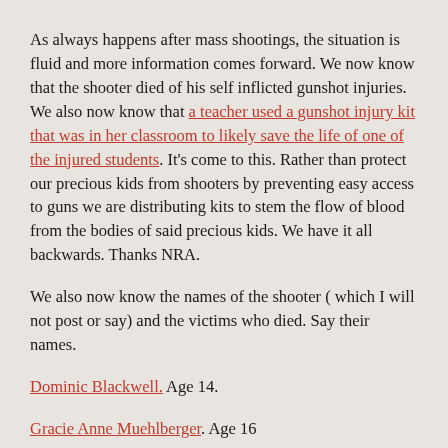As always happens after mass shootings, the situation is fluid and more information comes forward. We now know that the shooter died of his self inflicted gunshot injuries. We also now know that a teacher used a gunshot injury kit that was in her classroom to likely save the life of one of the injured students. It's come to this. Rather than protect our precious kids from shooters by preventing easy access to guns we are distributing kits to stem the flow of blood from the bodies of said precious kids. We have it all backwards. Thanks NRA.
We also now know the names of the shooter ( which I will not post or say) and the victims who died. Say their names.
Dominic Blackwell. Age 14.
Gracie Anne Muehlberger. Age 16
Their images will forever be stopped in time as was my sister's and they will never grow older or reach their